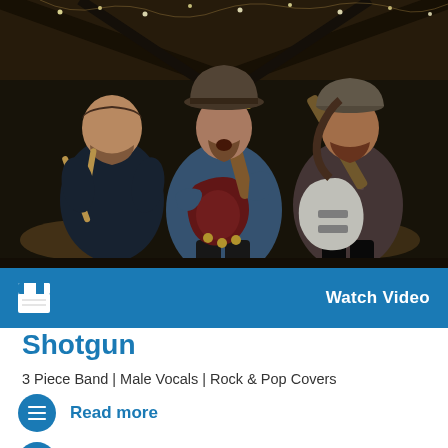[Figure (photo): Three male musicians performing in a barn venue. Left member holds drumsticks wearing dark shirt. Center member plays electric guitar (Les Paul style, dark red) while singing, wearing denim shirt and fedora hat. Right member plays bass guitar, wearing patterned shirt and cap. Fairy lights visible on ceiling.]
Watch Video
Shotgun
3 Piece Band | Male Vocals | Rock & Pop Covers
Read more
Listen (5)